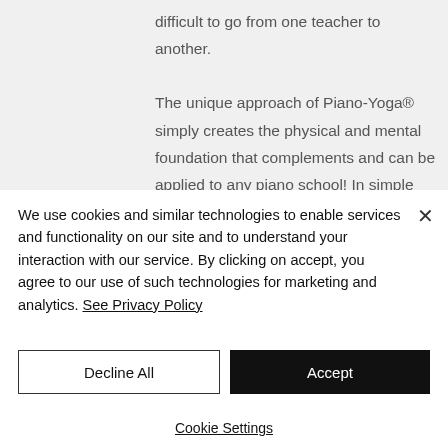difficult to go from one teacher to another. The unique approach of Piano-Yoga® simply creates the physical and mental foundation that complements and can be applied to any piano school! In simple terms it allows the player to learn any technique quicker and more efficiently.
We use cookies and similar technologies to enable services and functionality on our site and to understand your interaction with our service. By clicking on accept, you agree to our use of such technologies for marketing and analytics. See Privacy Policy
Decline All
Accept
Cookie Settings